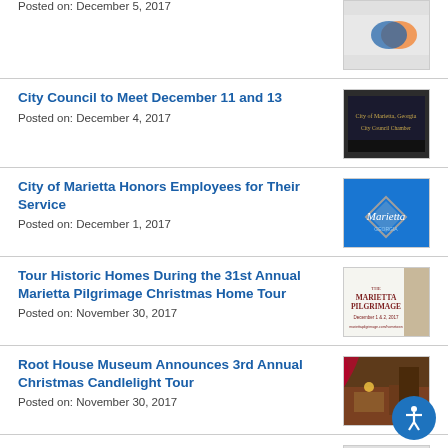Posted on: December 5, 2017
City Council to Meet December 11 and 13
Posted on: December 4, 2017
City of Marietta Honors Employees for Their Service
Posted on: December 1, 2017
Tour Historic Homes During the 31st Annual Marietta Pilgrimage Christmas Home Tour
Posted on: November 30, 2017
Root House Museum Announces 3rd Annual Christmas Candlelight Tour
Posted on: November 30, 2017
MPD to Host Open House Saturday, December 2, 2017